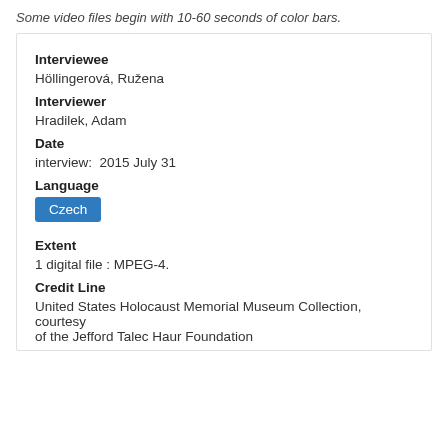Some video files begin with 10-60 seconds of color bars.
Interviewee
Höllingerová, Ružena
Interviewer
Hradilek, Adam
Date
interview:  2015 July 31
Language
Czech
Extent
1 digital file : MPEG-4.
Credit Line
United States Holocaust Memorial Museum Collection, courtesy of the Jefford Talec Haur Foundation